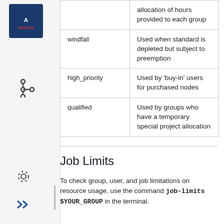| QOS | Description |
| --- | --- |
|  | allocation of hours provided to each group |
| windfall | Used when standard is depleted but subject to preemption |
| high_priority | Used by 'buy-in' users for purchased nodes |
| qualified | Used by groups who have a temporary special project allocation |
Job Limits
To check group, user, and job limitations on resource usage, use the command job-limits $YOUR_GROUP in the terminal.